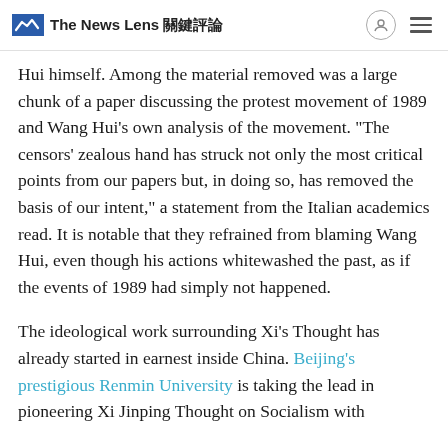The News Lens 關鍵評論
Hui himself. Among the material removed was a large chunk of a paper discussing the protest movement of 1989 and Wang Hui's own analysis of the movement. "The censors' zealous hand has struck not only the most critical points from our papers but, in doing so, has removed the basis of our intent," a statement from the Italian academics read. It is notable that they refrained from blaming Wang Hui, even though his actions whitewashed the past, as if the events of 1989 had simply not happened.
The ideological work surrounding Xi's Thought has already started in earnest inside China. Beijing's prestigious Renmin University is taking the lead in pioneering Xi Jinping Thought on Socialism with